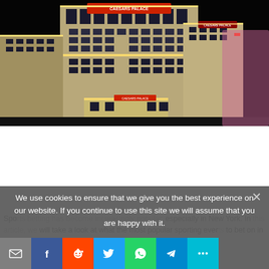[Figure (photo): Night photo of Caesars Palace casino hotel in Las Vegas, illuminated with lights against a dark sky, with a blurred vehicle passing on the right side]
We use cookies to ensure that we give you the best experience on our website. If you continue to use this site we will assume that you are happy with it.
Sports betting has become increasingly popular, especially in New York. In this article, we will take a look at what the most popular sporting events to bet on in New York and … to bet on sports. We will